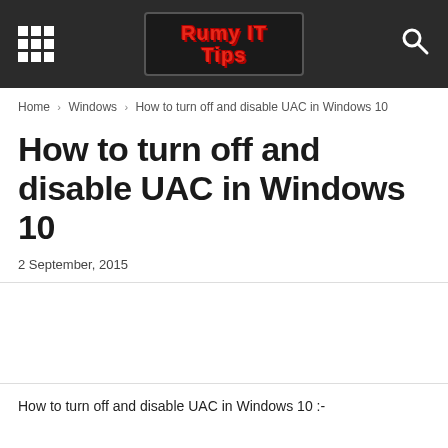Rumy IT Tips
Home › Windows › How to turn off and disable UAC in Windows 10
How to turn off and disable UAC in Windows 10
2 September, 2015
How to turn off and disable UAC in Windows 10 :-